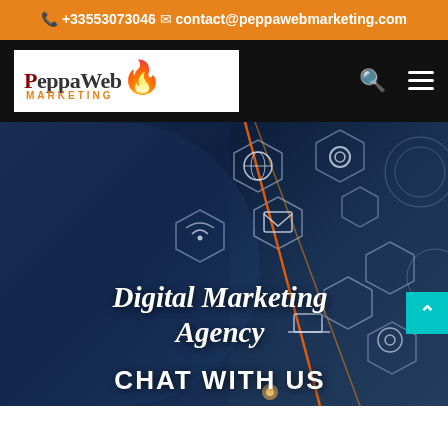+33553073046
contact@peppawebmarketing.com
[Figure (logo): PeppaWeb Marketing logo with flame icon on white background]
[Figure (photo): Dark blue digital marketing background with hexagon icons showing globe, gear, wifi, envelope, laptop, lock, shopping cart, settings symbols, with a hand pointing and orange laser beam lines]
Digital Marketing Agency
CHAT WITH US